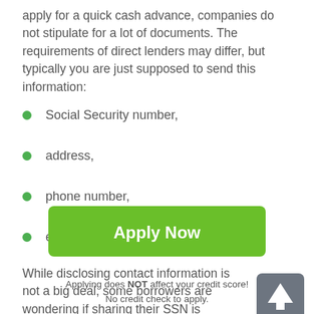apply for a quick cash advance, companies do not stipulate for a lot of documents. The requirements of direct lenders may differ, but typically you are just supposed to send this information:
Social Security number,
address,
phone number,
e-mail.
While disclosing contact information is not a big deal, some borrowers are wondering if sharing their SSN is necessary. However there is no reason to worry. By
[Figure (other): Scroll-to-top button: dark grey rounded square with white upward arrow]
[Figure (other): Green 'Apply Now' button]
Applying does NOT affect your credit score!
No credit check to apply.